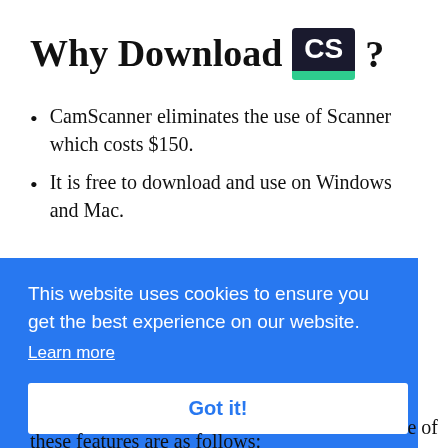Why Download CS ?
CamScanner eliminates the use of Scanner which costs $150.
It is free to download and use on Windows and Mac.
This website uses cookies to ensure you get the best experience on our website. Learn more
Got it!
e of
these features are as follows: